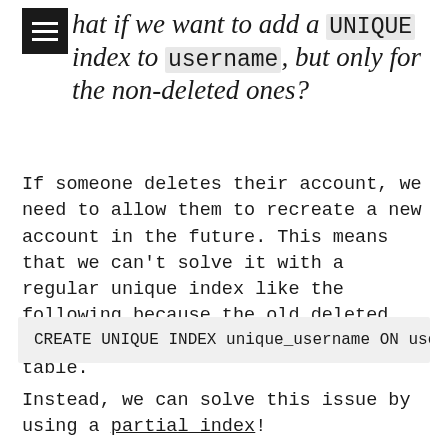What if we want to add a UNIQUE index to username, but only for the non-deleted ones?
If someone deletes their account, we need to allow them to recreate a new account in the future. This means that we can't solve it with a regular unique index like the following because the old deleted user still actually exists in the table.
Instead, we can solve this issue by using a partial index!